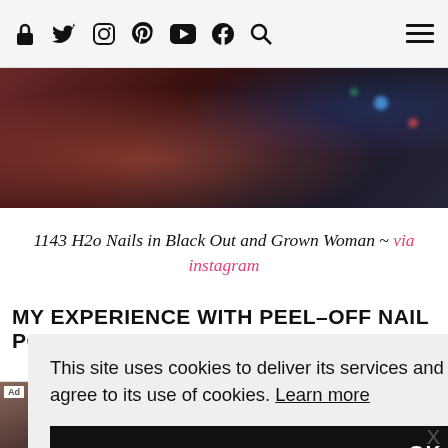Navigation bar with social icons: lock, Twitter, Instagram, Pinterest, YouTube, Facebook, Search, and hamburger menu
[Figure (photo): Close-up photo of dark skin with bokeh lights in background, appears to be a hand with nail polish]
1143 H2o Nails in Black Out and Grown Woman ~ via instagram
MY EXPERIENCE WITH PEEL-OFF NAIL POLISH
This site uses cookies to deliver its services and to analyse traffic. By using this site, you agree to its use of cookies. Learn more
OK
[Figure (infographic): Mobile advertisement banner for Clover-Live Stream Dating app with app logo and Download link]